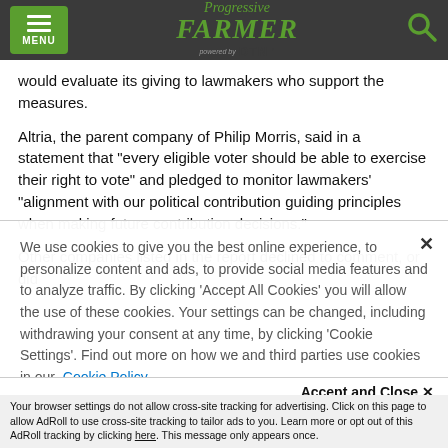Progressive Farmer powered by DTN
would evaluate its giving to lawmakers who support the measures.
Altria, the parent company of Philip Morris, said in a statement that "every eligible voter should be able to exercise their right to vote" and pledged to monitor lawmakers' "alignment with our political contribution guiding principles when making future contribution decisions."
Other companies listed in the report declined to comment, or did
We use cookies to give you the best online experience, to personalize content and ads, to provide social media features and to analyze traffic. By clicking 'Accept All Cookies' you will allow the use of these cookies. Your settings can be changed, including withdrawing your consent at any time, by clicking 'Cookie Settings'. Find out more on how we and third parties use cookies in our Cookie Policy
Accept and Close ✕
Your browser settings do not allow cross-site tracking for advertising. Click on this page to allow AdRoll to use cross-site tracking to tailor ads to you. Learn more or opt out of this AdRoll tracking by clicking here. This message only appears once.